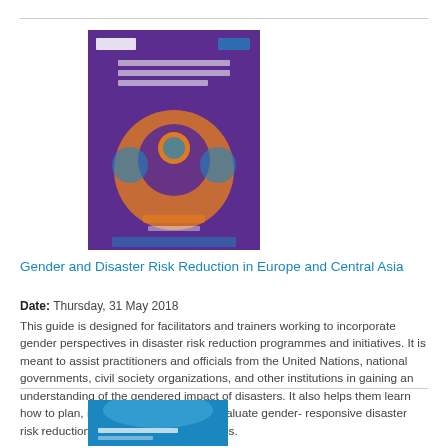[Figure (illustration): Book cover: Gender and Disaster Risk Reduction in Europe and Central Asia — purple background with circular graphic]
Gender and Disaster Risk Reduction in Europe and Central Asia
Date: Thursday, 31 May 2018
This guide is designed for facilitators and trainers working to incorporate gender perspectives in disaster risk reduction programmes and initiatives. It is meant to assist practitioners and officials from the United Nations, national governments, civil society organizations, and other institutions in gaining an understanding of the gendered impact of disasters. It also helps them learn how to plan, implement, monitor and evaluate gender-responsive disaster risk reduction programmes and initiatives.
[Figure (illustration): Book cover: second publication with blue cover, partially visible at bottom]